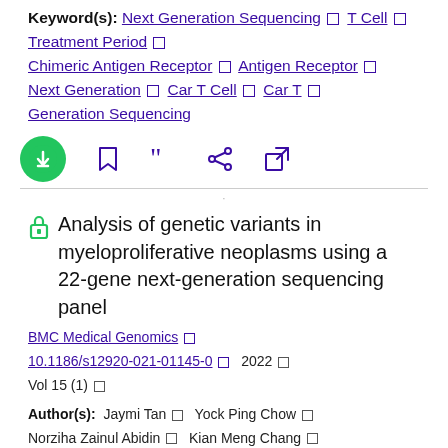Keyword(s): Next Generation Sequencing □ T Cell □ Treatment Period □ Chimeric Antigen Receptor □ Antigen Receptor □ Next Generation □ Car T Cell □ Car T □ Generation Sequencing
[Figure (other): Row of action icons: green download button, bookmark, cite/quote, share, external link]
Analysis of genetic variants in myeloproliferative neoplasms using a 22-gene next-generation sequencing panel
BMC Medical Genomics □ 10.1186/s12920-021-01145-0 □ 2022 □ Vol 15 (1) □
Author(s): Jaymi Tan □ Yock Ping Chow □ Norziha Zainul Abidin □ Kian Meng Chang □ Veena Selvaratnam □ ...
Keyword(s): Next Generation Sequencing □